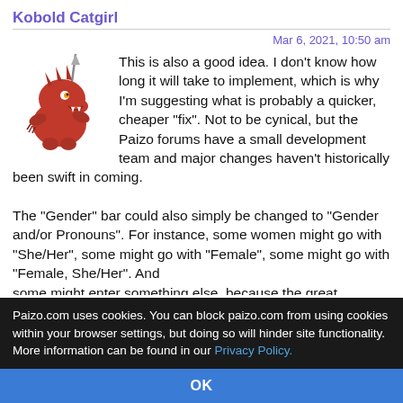Kobold Catgirl
Mar 6, 2021, 10:50 am
This is also a good idea. I don't know how long it will take to implement, which is why I'm suggesting what is probably a quicker, cheaper "fix". Not to be cynical, but the Paizo forums have a small development team and major changes haven't historically been swift in coming.

The "Gender" bar could also simply be changed to "Gender and/or Pronouns". For instance, some women might go with "She/Her", some might go with "Female", some might go with "Female, She/Her". And some might enter something else, because the great
Paizo.com uses cookies. You can block paizo.com from using cookies within your browser settings, but doing so will hinder site functionality. More information can be found in our Privacy Policy.
OK